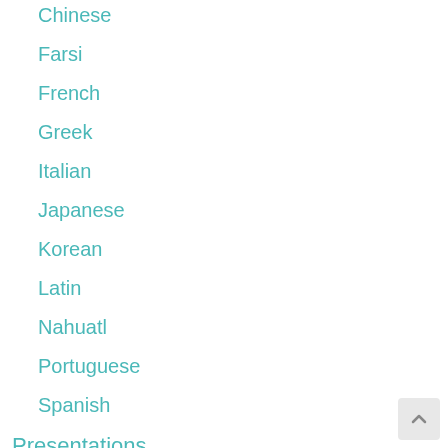Chinese
Farsi
French
Greek
Italian
Japanese
Korean
Latin
Nahuatl
Portuguese
Spanish
Presentations
Reviews
Stories
Folk Tales